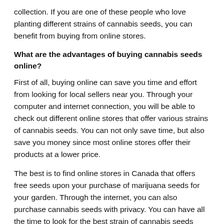collection. If you are one of these people who love planting different strains of cannabis seeds, you can benefit from buying from online stores.
What are the advantages of buying cannabis seeds online?
First of all, buying online can save you time and effort from looking for local sellers near you. Through your computer and internet connection, you will be able to check out different online stores that offer various strains of cannabis seeds. You can not only save time, but also save you money since most online stores offer their products at a lower price.
The best is to find online stores in Canada that offers free seeds upon your purchase of marijuana seeds for your garden. Through the internet, you can also purchase cannabis seeds with privacy. You can have all the time to look for the best strain of cannabis seeds without needing to visit local sellers.
Why people purchase cannabis seeds?
There are different advantages of cannabis and people grow